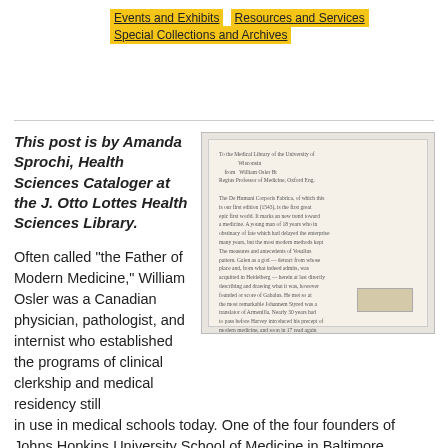Events and Exhibits | Resources and Services | Special Collections and Archives
This post is by Amanda Sprochi, Health Sciences Cataloger at the J. Otto Lottes Health Sciences Library.
[Figure (photo): A handwritten letter on aged paper, appearing to be a historical document signed by William Osler, with a small label/stamp box in the bottom right corner.]
Often called "the Father of Modern Medicine," William Osler was a Canadian physician, pathologist, and internist who established the programs of clinical clerkship and medical residency still in use in medical schools today. One of the four founders of Johns Hopkins University School of Medicine in Baltimore, Maryland, he continued his career as the